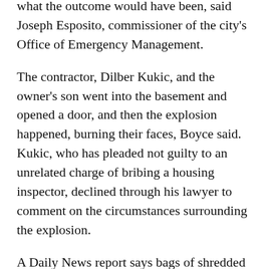what the outcome would have been, said Joseph Esposito, commissioner of the city's Office of Emergency Management.
The contractor, Dilber Kukic, and the owner's son went into the basement and opened a door, and then the explosion happened, burning their faces, Boyce said. Kukic, who has pleaded not guilty to an unrelated charge of bribing a housing inspector, declined through his lawyer to comment on the circumstances surrounding the explosion.
A Daily News report says bags of shredded paper could be seen as city investigators arrived at the home of the building's landlord.
Debris was still being removed Tuesday as a multi-agency investigation looked over records for gas